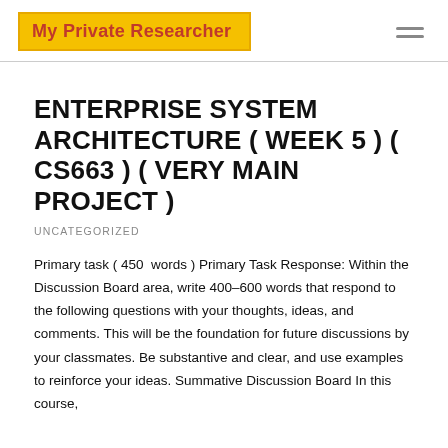My Private Researcher
ENTERPRISE SYSTEM ARCHITECTURE ( WEEK 5 ) ( CS663 ) ( VERY MAIN PROJECT )
UNCATEGORIZED
Primary task ( 450  words ) Primary Task Response: Within the Discussion Board area, write 400–600 words that respond to the following questions with your thoughts, ideas, and comments. This will be the foundation for future discussions by your classmates. Be substantive and clear, and use examples to reinforce your ideas. Summative Discussion Board In this course,